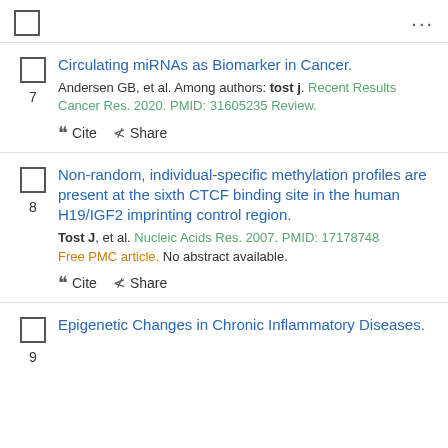7. Circulating miRNAs as Biomarker in Cancer. Andersen GB, et al. Among authors: tost j. Recent Results Cancer Res. 2020. PMID: 31605235 Review.
8. Non-random, individual-specific methylation profiles are present at the sixth CTCF binding site in the human H19/IGF2 imprinting control region. Tost J, et al. Nucleic Acids Res. 2007. PMID: 17178748 Free PMC article. No abstract available.
9. Epigenetic Changes in Chronic Inflammatory Diseases.